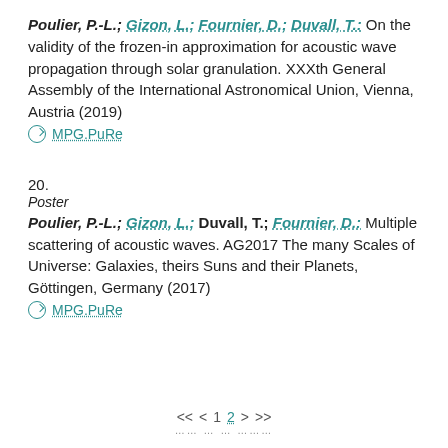Poulier, P.-L.; Gizon, L.; Fournier, D.; Duvall, T.: On the validity of the frozen-in approximation for acoustic wave propagation through solar granulation. XXXth General Assembly of the International Astronomical Union, Vienna, Austria (2019)
MPG.PuRe
20.
Poster
Poulier, P.-L.; Gizon, L.; Duvall, T.; Fournier, D.: Multiple scattering of acoustic waves. AG2017 The many Scales of Universe: Galaxies, theirs Suns and their Planets, Göttingen, Germany (2017)
MPG.PuRe
<< < 1 2 > >>